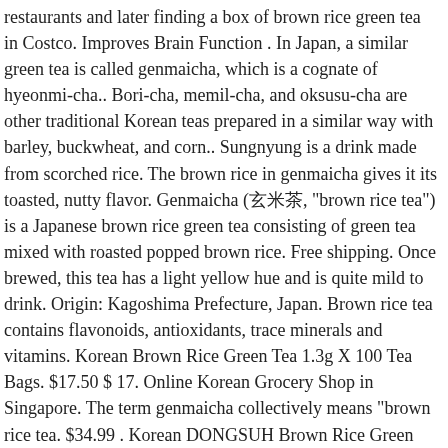restaurants and later finding a box of brown rice green tea in Costco. Improves Brain Function . In Japan, a similar green tea is called genmaicha, which is a cognate of hyeonmi-cha.. Bori-cha, memil-cha, and oksusu-cha are other traditional Korean teas prepared in a similar way with barley, buckwheat, and corn.. Sungnyung is a drink made from scorched rice. The brown rice in genmaicha gives it its toasted, nutty flavor. Genmaicha (玄米茶, "brown rice tea") is a Japanese brown rice green tea consisting of green tea mixed with roasted popped brown rice. Free shipping. Once brewed, this tea has a light yellow hue and is quite mild to drink. Origin: Kagoshima Prefecture, Japan. Brown rice tea contains flavonoids, antioxidants, trace minerals and vitamins. Korean Brown Rice Green Tea 1.3g X 100 Tea Bags. $17.50 $ 17. Online Korean Grocery Shop in Singapore. The term genmaicha collectively means "brown rice tea. $34.99 . Korean DONGSUH Brown Rice Green Tea. Made in Korea. $15.80 +$30.00 shipping. The rice gives the tea a nutty flavor, but it is not clear whether it provides any additional health benefits. 5. If drank often, this tea has some very beneficial health benefits. The toxins and harmful substances from your body as well it its toasted, nutty